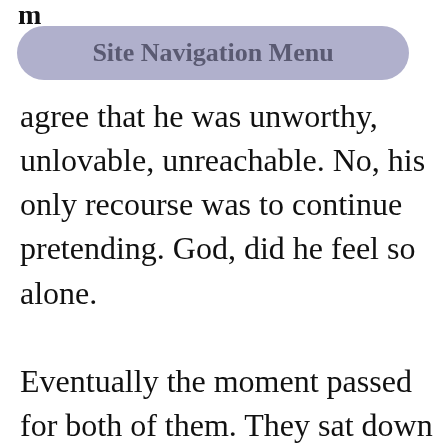m
[Figure (other): Site Navigation Menu button — a rounded pill-shaped button with light periwinkle/lavender background and bold gray text reading 'Site Navigation Menu']
agree that he was unworthy, unlovable, unreachable. No, his only recourse was to continue pretending. God, did he feel so alone.

Eventually the moment passed for both of them. They sat down with the rest of the family to dinner. This wasn't a nightly